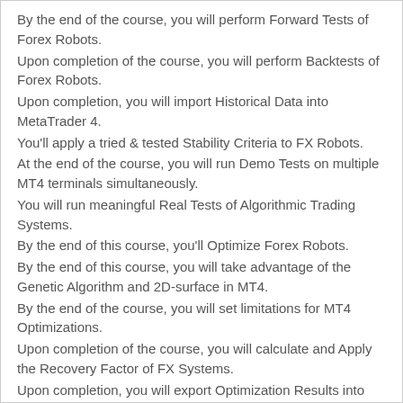By the end of the course, you will perform Forward Tests of Forex Robots.
Upon completion of the course, you will perform Backtests of Forex Robots.
Upon completion, you will import Historical Data into MetaTrader 4.
You'll apply a tried & tested Stability Criteria to FX Robots.
At the end of the course, you will run Demo Tests on multiple MT4 terminals simultaneously.
You will run meaningful Real Tests of Algorithmic Trading Systems.
By the end of this course, you'll Optimize Forex Robots.
By the end of this course, you will take advantage of the Genetic Algorithm and 2D-surface in MT4.
By the end of the course, you will set limitations for MT4 Optimizations.
Upon completion of the course, you will calculate and Apply the Recovery Factor of FX Systems.
Upon completion, you will export Optimization Results into Excel.